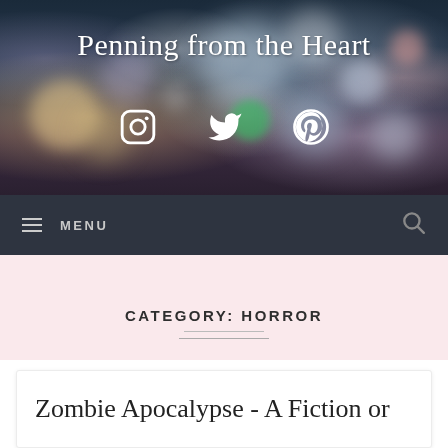Penning from the Heart
[Figure (screenshot): Blog header banner with bokeh bokeh light background, social media icons for Instagram, Twitter, and Pinterest, and site title 'Penning from the Heart']
MENU (navigation bar with hamburger icon and search icon)
CATEGORY: HORROR
Zombie Apocalypse - A Fiction or